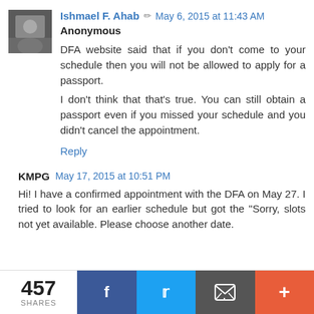Ishmael F. Ahab  May 6, 2015 at 11:43 AM
Anonymous
DFA website said that if you don't come to your schedule then you will not be allowed to apply for a passport.
I don't think that that's true. You can still obtain a passport even if you missed your schedule and you didn't cancel the appointment.
Reply
KMPG  May 17, 2015 at 10:51 PM
Hi! I have a confirmed appointment with the DFA on May 27. I tried to look for an earlier schedule but got the "Sorry, slots not yet available. Please choose another date.
457 SHARES